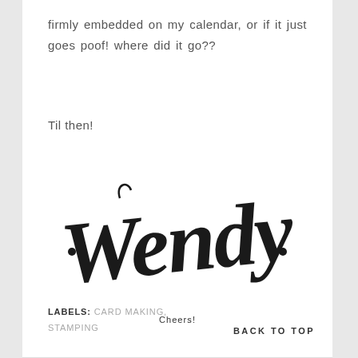firmly embedded on my calendar, or if it just goes poof! where did it go??
Til then!
[Figure (illustration): Handwritten-style script signature reading '· Wendy ·' with 'Cheers!' below it in small print]
LABELS: CARD MAKING, STAMPING   BACK TO TOP